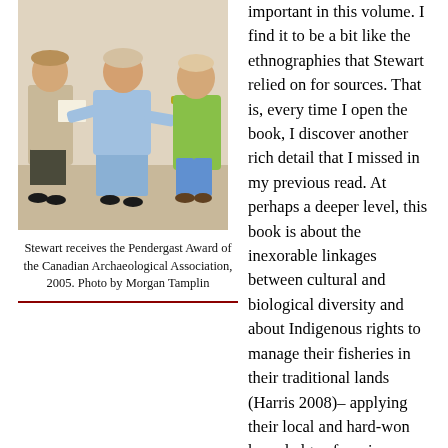[Figure (photo): Three people standing in a room; woman in center wearing light blue suit appears to be receiving an award, flanked by a man holding a certificate and another woman in green.]
Stewart receives the Pendergast Award of the Canadian Archaeological Association, 2005. Photo by Morgan Tamplin
important in this volume. I find it to be a bit like the ethnographies that Stewart relied on for sources. That is, every time I open the book, I discover another rich detail that I missed in my previous read. At perhaps a deeper level, this book is about the inexorable linkages between cultural and biological diversity and about Indigenous rights to manage their fisheries in their traditional lands (Harris 2008)– applying their local and hard-won knowledge of marine ecosystems and governance.
Stewart writes in her preface to the 1994 edition that in 1978 the government of British Columbia gave a copy of this book to every school in the province. I wonder how much of the knowledge embedded in this book is integrated into public